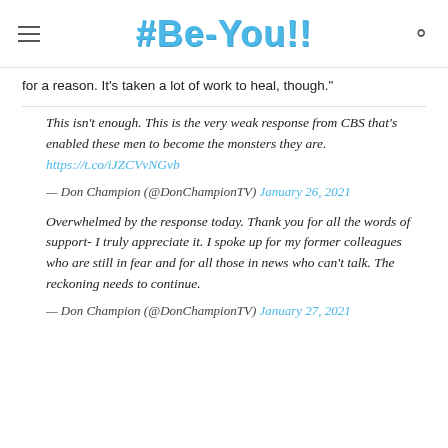#Be-You!!
for a reason. It’s taken a lot of work to heal, though.”
This isn’t enough. This is the very weak response from CBS that’s enabled these men to become the monsters they are. https://t.co/iJZCVvNGvb
— Don Champion (@DonChampionTV) January 26, 2021
Overwhelmed by the response today. Thank you for all the words of support- I truly appreciate it. I spoke up for my former colleagues who are still in fear and for all those in news who can’t talk. The reckoning needs to continue.
— Don Champion (@DonChampionTV) January 27, 2021